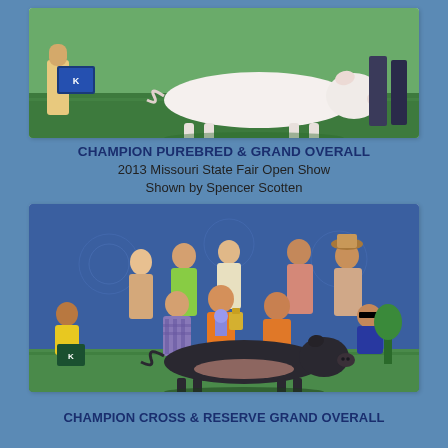[Figure (photo): A white purebred pig standing on green grass at a show, with a person bending down beside it and a decorative banner visible.]
CHAMPION PUREBRED & GRAND OVERALL
2013 Missouri State Fair Open Show
Shown by Spencer Scotten
[Figure (photo): A group of people posing with a dark-colored cross pig at a show. Group includes several adults and youth. A Kalmbach Feeds bag and ribbons/trophy are visible. Blue backdrop with show logos.]
CHAMPION CROSS & RESERVE GRAND OVERALL